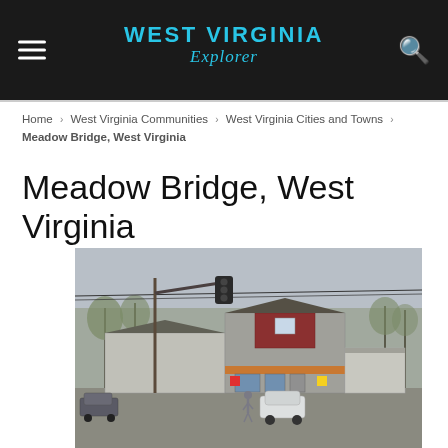WEST VIRGINIA Explorer
Home › West Virginia Communities › West Virginia Cities and Towns › Meadow Bridge, West Virginia
Meadow Bridge, West Virginia
[Figure (photo): Street-level photo of a small rural commercial building in Meadow Bridge, WV. A two-story structure with red and grey metal siding, a traffic light hanging overhead, bare winter trees in the background, a white SUV and dark sedan parked in front, and a person walking near the entrance.]